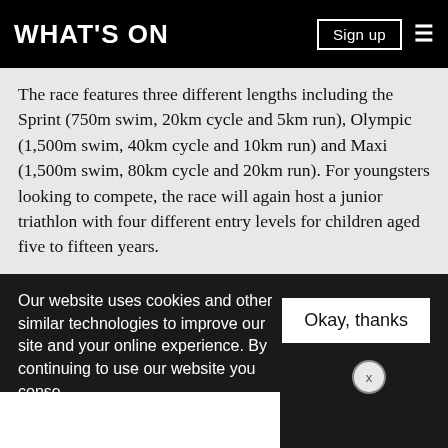WHAT'S ON
The race features three different lengths including the Sprint (750m swim, 20km cycle and 5km run), Olympic (1,500m swim, 40km cycle and 10km run) and Maxi (1,500m swim, 80km cycle and 20km run). For youngsters looking to compete, the race will again host a junior triathlon with four different entry levels for children aged five to fifteen years.
Early bird entry tickets for the two-day triathlon on Yas Island are available online. Spots start from Dhs405 and up. For more information or to sign up visit:
Our website uses cookies and other similar technologies to improve our site and your online experience. By continuing to use our website you conse… our pr…